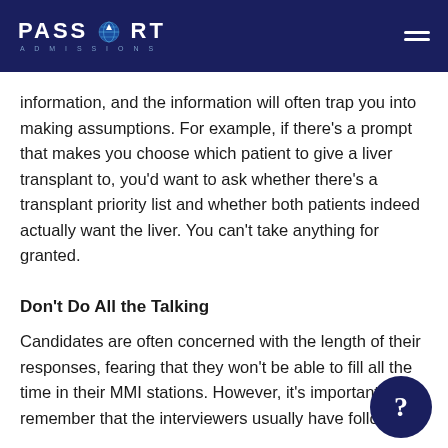PASSPORT ADMISSIONS
information, and the information will often trap you into making assumptions. For example, if there's a prompt that makes you choose which patient to give a liver transplant to, you'd want to ask whether there's a transplant priority list and whether both patients indeed actually want the liver. You can't take anything for granted.
Don't Do All the Talking
Candidates are often concerned with the length of their responses, fearing that they won't be able to fill all the time in their MMI stations. However, it's important to remember that the interviewers usually have follow up